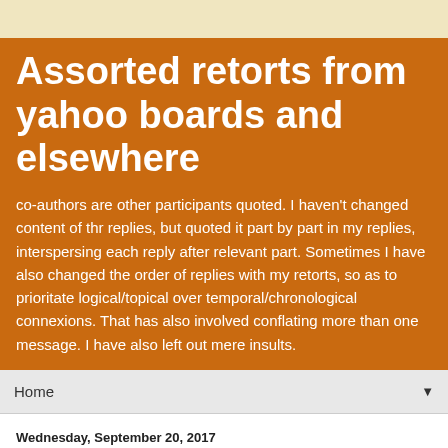Assorted retorts from yahoo boards and elsewhere
co-authors are other participants quoted. I haven't changed content of thr replies, but quoted it part by part in my replies, interspersing each reply after relevant part. Sometimes I have also changed the order of replies with my retorts, so as to prioritate logical/topical over temporal/chronological connexions. That has also involved conflating more than one message. I have also left out mere insults.
Home ▼
Wednesday, September 20, 2017
... on Inbreeding and Bible
Genetic Mutations In Humans that Caused By Inbreeding